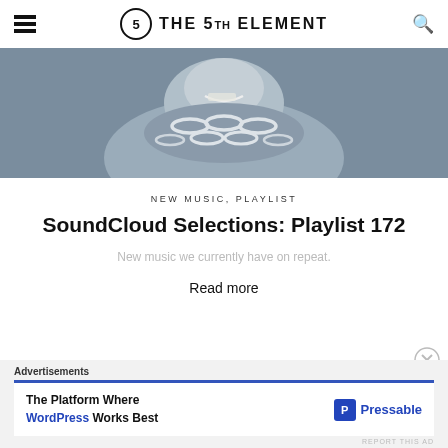THE 5TH ELEMENT
[Figure (photo): Close-up grayscale photo of a person's lower face and neck wearing large chain necklaces, with a slight smile showing teeth]
NEW MUSIC, PLAYLIST
SoundCloud Selections: Playlist 172
New music we currently have on repeat.
Read more
Advertisements
The Platform Where WordPress Works Best